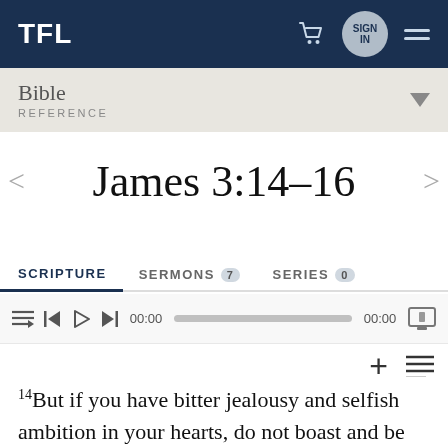TFL
Bible REFERENCE
James 3:14–16
SCRIPTURE   SERMONS 7   SERIES 0
00:00   00:00
14But if you have bitter jealousy and selfish ambition in your hearts, do not boast and be false to 15